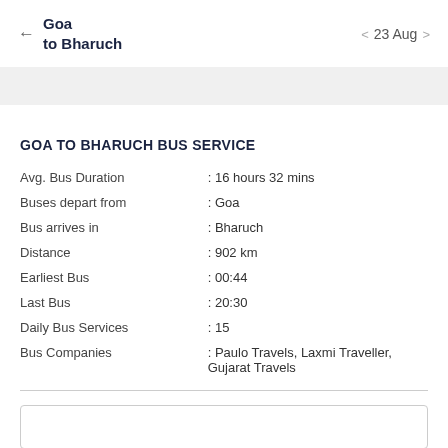← Goa to Bharuch   < 23 Aug >
GOA TO BHARUCH BUS SERVICE
| Field | Value |
| --- | --- |
| Avg. Bus Duration | : 16 hours 32 mins |
| Buses depart from | : Goa |
| Bus arrives in | : Bharuch |
| Distance | : 902 km |
| Earliest Bus | : 00:44 |
| Last Bus | : 20:30 |
| Daily Bus Services | : 15 |
| Bus Companies | : Paulo Travels, Laxmi Traveller, Gujarat Travels |